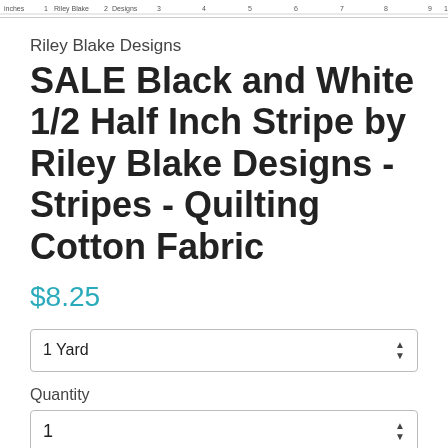[Figure (other): Ruler/measuring tape graphic at top showing inches with Riley Blake Designs branding, numbers 1 through 9]
Riley Blake Designs
SALE Black and White 1/2 Half Inch Stripe by Riley Blake Designs - Stripes - Quilting Cotton Fabric
$8.25
1 Yard
Quantity
1